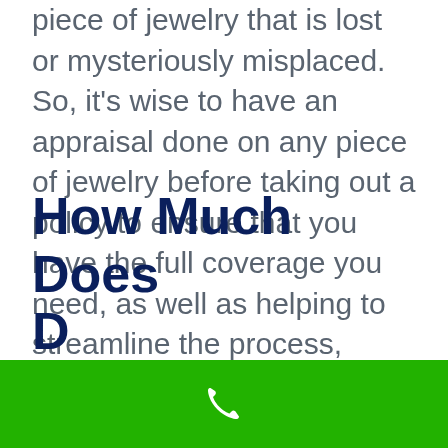piece of jewelry that is lost or mysteriously misplaced. So, it's wise to have an appraisal done on any piece of jewelry before taking out a policy to ensure that you have the full coverage you need, as well as helping to streamline the process, should you ever need to file a claim.
How Much Does
[Figure (other): Green call-to-action bar with white phone icon]